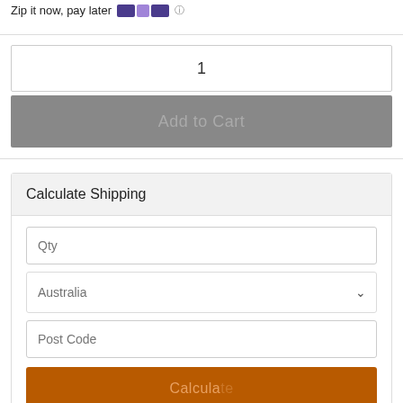Zip it now, pay later [Zip logo] i
1
Add to Cart
Calculate Shipping
Qty
Australia
Post Code
Calculate